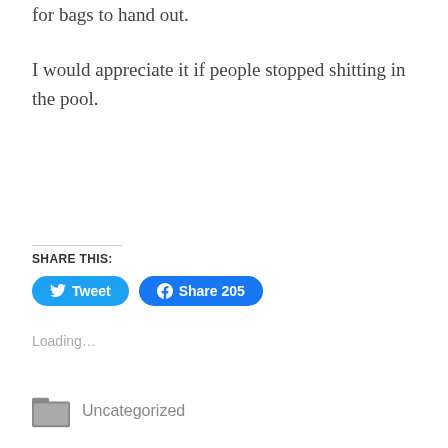for bags to hand out.
I would appreciate it if people stopped shitting in the pool.
Share this:
[Figure (other): Tweet and Facebook Share buttons with counts: Tweet button (Twitter/X blue), Share 205 button (Facebook blue)]
Loading...
Uncategorized